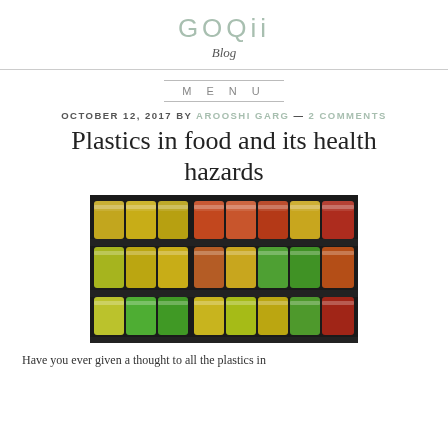GOQii Blog
MENU
OCTOBER 12, 2017 BY AROOSHI GARG — 2 COMMENTS
Plastics in food and its health hazards
[Figure (photo): Supermarket refrigerated shelves filled with colorful fresh fruit and vegetable pieces stored in clear plastic containers, arranged in rows.]
Have you ever given a thought to all the plastics in...